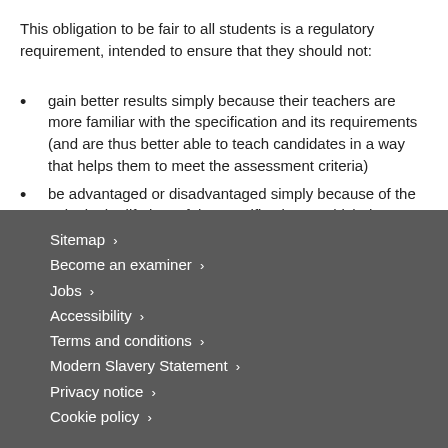This obligation to be fair to all students is a regulatory requirement, intended to ensure that they should not:
gain better results simply because their teachers are more familiar with the specification and its requirements (and are thus better able to teach candidates in a way that helps them to meet the assessment criteria)
be advantaged or disadvantaged simply because of the point in the lifetime of the specification at which they happen to have entered.
Sitemap › Become an examiner › Jobs › Accessibility › Terms and conditions › Modern Slavery Statement › Privacy notice › Cookie policy ›